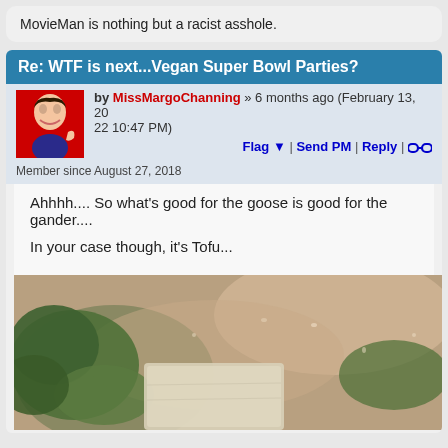MovieMan is nothing but a racist asshole.
Re: WTF is next...Vegan Super Bowl Parties?
by MissMargoChanning » 6 months ago (February 13, 2022 10:47 PM)
Flag ▼ | Send PM | Reply | ∞
Member since August 27, 2018
Ahhhh.... So what's good for the goose is good for the gander....
In your case though, it's Tofu...
[Figure (photo): Close-up photo of tofu and green vegetables in a broth or soup]